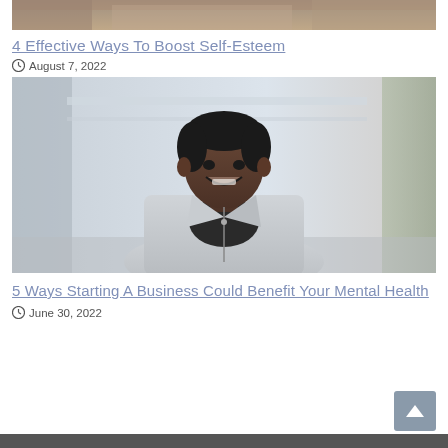[Figure (photo): Top portion of a cropped photo visible at the very top of the page]
4 Effective Ways To Boost Self-Esteem
August 7, 2022
[Figure (photo): Portrait photo of a smiling person with short hair wearing a light gray blazer over a black shirt, standing against a blurred indoor background]
5 Ways Starting A Business Could Benefit Your Mental Health
June 30, 2022